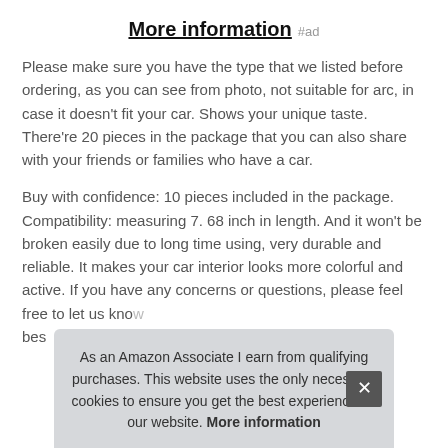More information #ad
Please make sure you have the type that we listed before ordering, as you can see from photo, not suitable for arc, in case it doesn't fit your car. Shows your unique taste. There're 20 pieces in the package that you can also share with your friends or families who have a car.
Buy with confidence: 10 pieces included in the package. Compatibility: measuring 7. 68 inch in length. And it won't be broken easily due to long time using, very durable and reliable. It makes your car interior looks more colorful and active. If you have any concerns or questions, please feel free to let us know
As an Amazon Associate I earn from qualifying purchases. This website uses the only necessary cookies to ensure you get the best experience on our website. More information